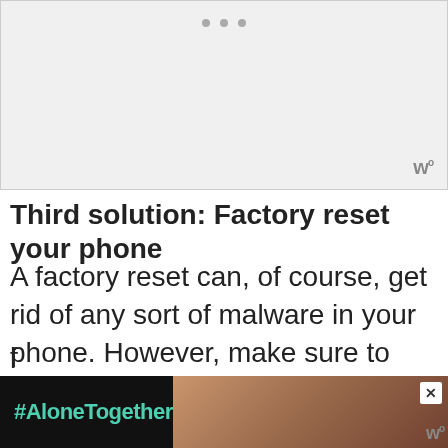[Figure (other): Placeholder image area with three dots at top center and a watermark logo at bottom right]
Third solution: Factory reset your phone
A factory reset can, of course, get rid of any sort of malware in your phone. However, make sure to create a backup of your important files and data first as they will be deleted. After the backup,
[Figure (photo): Advertisement banner with #AloneTogether text and photo of people, with close button and logo]